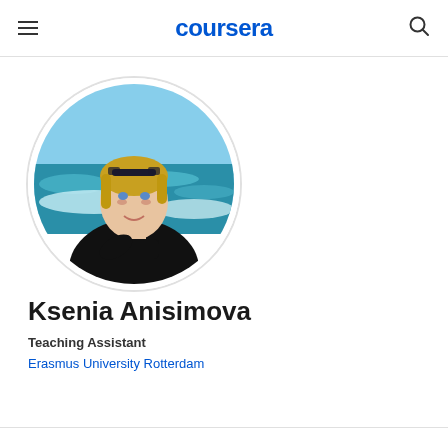coursera
[Figure (photo): Circular profile photo of Ksenia Anisimova, a woman with blonde hair and sunglasses on her head, wearing a black turtleneck, standing near a beach with blue water and waves in the background.]
Ksenia Anisimova
Teaching Assistant
Erasmus University Rotterdam